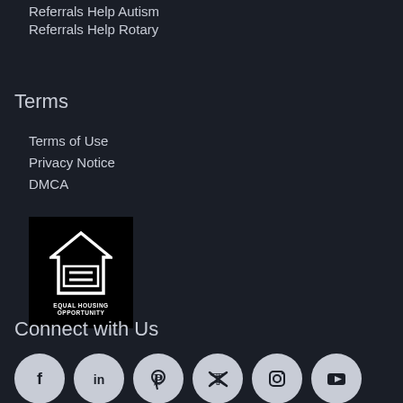Referrals Help Autism
Referrals Help Rotary
Terms
Terms of Use
Privacy Notice
DMCA
[Figure (logo): Equal Housing Opportunity logo — white house icon with equal sign, black background, text EQUAL HOUSING OPPORTUNITY]
Connect with Us
[Figure (infographic): Row of 6 social media icons in light grey circles: Facebook, LinkedIn, Pinterest, Twitter/X, Instagram, YouTube]